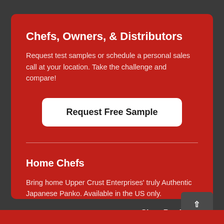Chefs, Owners, & Distributors
Request test samples or schedule a personal sales call at your location. Take the challenge and compare!
Request Free Sample
Home Chefs
Bring home Upper Crust Enterprises' truly Authentic Japanese Panko. Available in the US only.
Shop Products